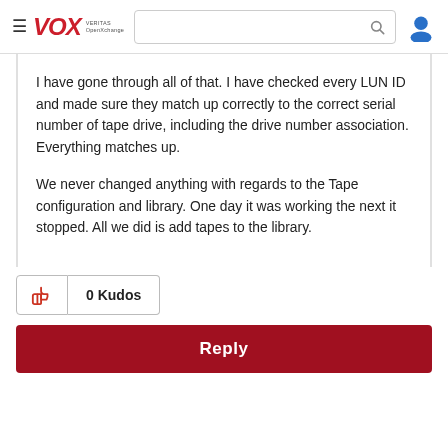VOX VERITAS OpenXchange
I have gone through all of that. I have checked every LUN ID and made sure they match up correctly to the correct serial number of tape drive, including the drive number association. Everything matches up.
We never changed anything with regards to the Tape configuration and library. One day it was working the next it stopped. All we did is add tapes to the library.
0 Kudos
Reply